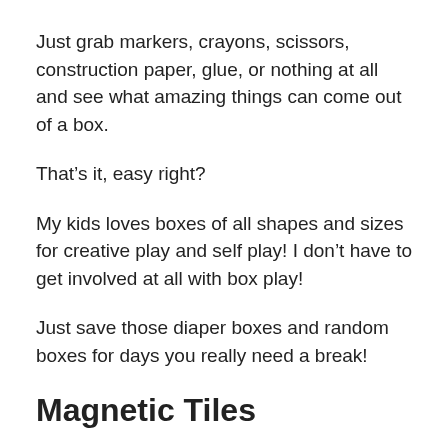Just grab markers, crayons, scissors, construction paper, glue, or nothing at all and see what amazing things can come out of a box.
That’s it, easy right?
My kids loves boxes of all shapes and sizes for creative play and self play! I don’t have to get involved at all with box play!
Just save those diaper boxes and random boxes for days you really need a break!
Magnetic Tiles